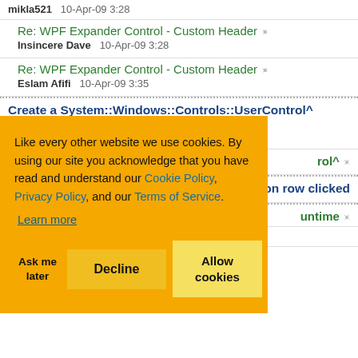mikla521   10-Apr-09 3:28
Re: WPF Expander Control - Custom Header
Insincere Dave   10-Apr-09 3:28
Re: WPF Expander Control - Custom Header
Eslam Afifi   10-Apr-09 3:35
Create a System::Windows::Controls::UserControl^
Member 3776367   10-Apr-09 2:25
Like every other website we use cookies. By using our site you acknowledge that you have read and understand our Cookie Policy, Privacy Policy, and our Terms of Service.
Learn more
...rol^  [partial - cookie overlay]
...on row clicked [partial - cookie overlay]
...untime [partial - cookie overlay]
zaki1984   8-Apr-09 23:53